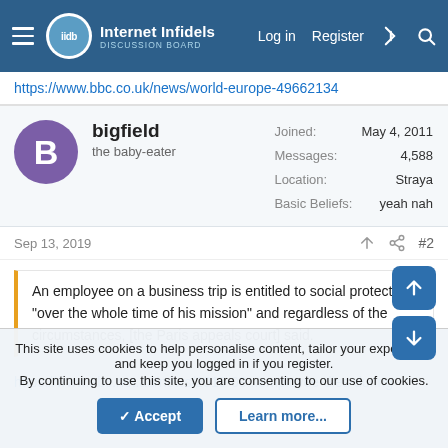Internet Infidels — Log in | Register
https://www.bbc.co.uk/news/world-europe-49662134
bigfield
the baby-eater
Joined: May 4, 2011
Messages: 4,588
Location: Straya
Basic Beliefs: yeah nah
Sep 13, 2019
#2
An employee on a business trip is entitled to social protection "over the whole time of his mission" and regardless of the circumstances, [the Paris appeals court] said.
https://www.abc.net.au/news/2019-09...employee-dies-during-
This site uses cookies to help personalise content, tailor your experience and keep you logged in if you register.
By continuing to use this site, you are consenting to our use of cookies.